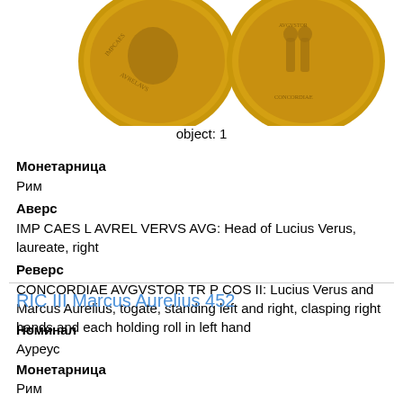[Figure (photo): Two gold Roman coins shown side by side — obverse (left) showing laureate head facing right, reverse (right) showing two figures clasping hands]
object: 1
Монетарница
Рим
Аверс
IMP CAES L AVREL VERVS AVG: Head of Lucius Verus, laureate, right
Реверс
CONCORDIAE AVGVSTOR TR P COS II: Lucius Verus and Marcus Aurelius, togate, standing left and right, clasping right hands and each holding roll in left hand
RIC III Marcus Aurelius 452
Номинал
Ауреус
Монетарница
Рим
Аверс